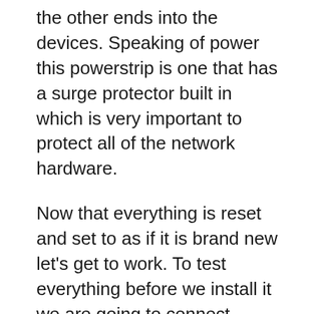the other ends into the devices. Speaking of power this powerstrip is one that has a surge protector built in which is very important to protect all of the network hardware.
Now that everything is reset and set to as if it is brand new let's get to work. To test everything before we install it we are going to connect everything on a separate table. To start off let's talk about internet connection. Personally I have cable internet meaning that I get my internet from my ISP over a coaxial cable. Therefore I have a cable modem which is the first thing we are going to connect. So, I am going to take the coaxial cable from my ISP and plug it into the modem. Next up is the main router which again is the TP-Link Archer C7. To connect the devices